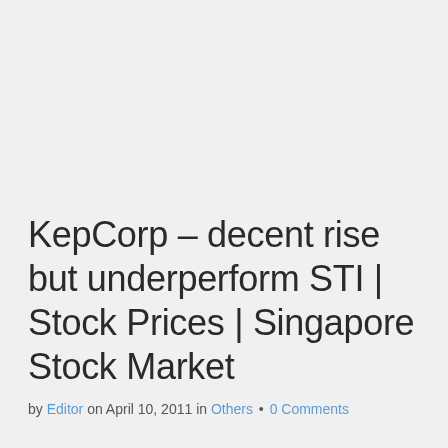KepCorp – decent rise but underperform STI | Stock Prices | Singapore Stock Market
by Editor on April 10, 2011 in Others • 0 Comments